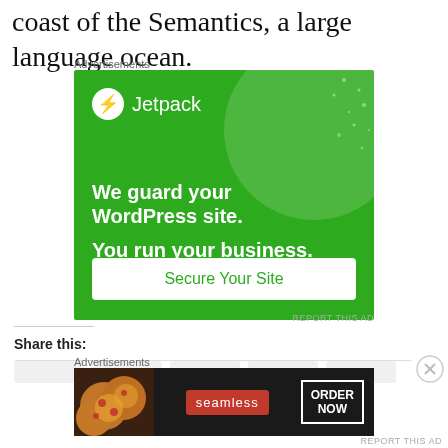coast of the Semantics, a large language ocean.
Advertisements
[Figure (advertisement): Jetpack advertisement: 'We guard your WordPress site. You run your business.' with a 'Secure Your Site' button on a green background.]
REPORT THIS AD
Share this:
Advertisements
[Figure (advertisement): Seamless food delivery advertisement showing pizza with 'seamless' logo and 'ORDER NOW' button on dark background.]
REPORT THIS AD